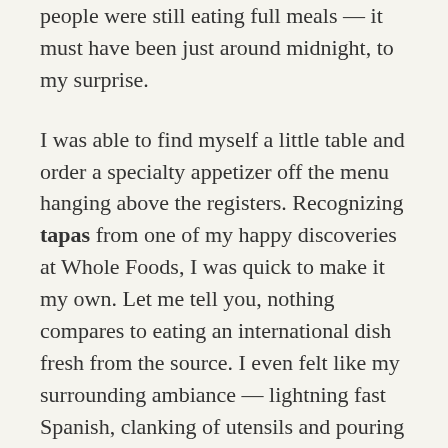people were still eating full meals — it must have been just around midnight, to my surprise.
I was able to find myself a little table and order a specialty appetizer off the menu hanging above the registers. Recognizing tapas from one of my happy discoveries at Whole Foods, I was quick to make it my own. Let me tell you, nothing compares to eating an international dish fresh from the source. I even felt like my surrounding ambiance — lightning fast Spanish, clanking of utensils and pouring wine glasses — helped contribute to the resulting flavor, but maybe that was just when the alcohol really started taking over.
If you've never tried tapas, you need to seek it out immediately. Tapas basically